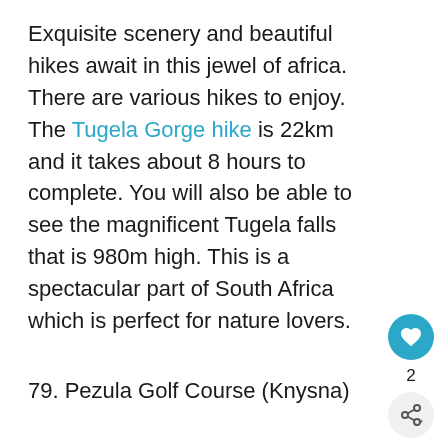Exquisite scenery and beautiful hikes await in this jewel of africa. There are various hikes to enjoy. The Tugela Gorge hike is 22km and it takes about 8 hours to complete. You will also be able to see the magnificent Tugela falls that is 980m high. This is a spectacular part of South Africa which is perfect for nature lovers.
79. Pezula Golf Course (Knysna)